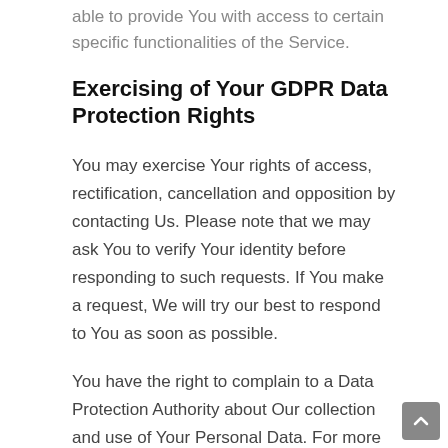able to provide You with access to certain specific functionalities of the Service.
Exercising of Your GDPR Data Protection Rights
You may exercise Your rights of access, rectification, cancellation and opposition by contacting Us. Please note that we may ask You to verify Your identity before responding to such requests. If You make a request, We will try our best to respond to You as soon as possible.
You have the right to complain to a Data Protection Authority about Our collection and use of Your Personal Data. For more information, if You are in the European Economic Area (EEA), please contact Your